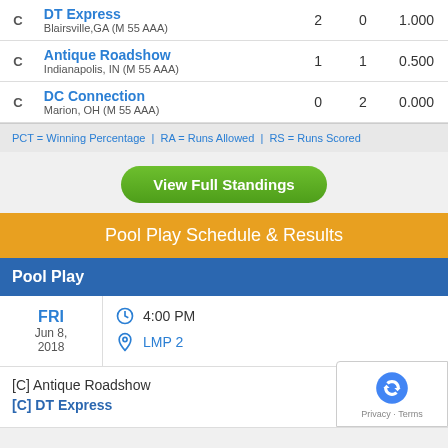|  | Team | W | L | PCT |
| --- | --- | --- | --- | --- |
| C | DT Express
Blairsville,GA (M 55 AAA) | 2 | 0 | 1.000 |
| C | Antique Roadshow
Indianapolis, IN (M 55 AAA) | 1 | 1 | 0.500 |
| C | DC Connection
Marion, OH (M 55 AAA) | 0 | 2 | 0.000 |
PCT = Winning Percentage  |  RA = Runs Allowed  |  RS = Runs Scored
View Full Standings
Pool Play Schedule & Results
Pool Play
FRI Jun 8, 2018 | 4:00 PM | LMP 2
[C] Antique Roadshow
[C] DT Express